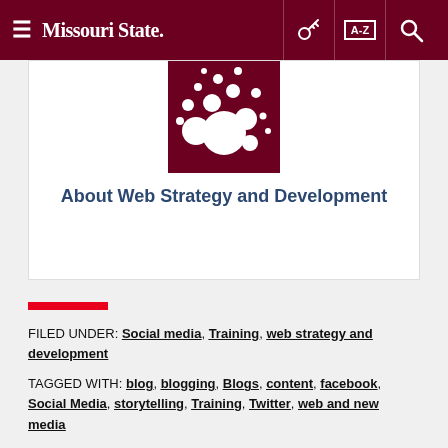Missouri State
[Figure (logo): Missouri State University logo — dark red background with white circular bubble pattern]
About Web Strategy and Development
FILED UNDER: Social media, Training, web strategy and development
TAGGED WITH: blog, blogging, Blogs, content, facebook, Social Media, storytelling, Training, Twitter, web and new media